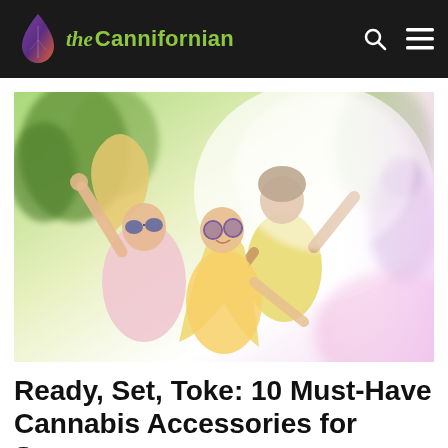the Cannifornian
[Figure (photo): Group of young people dancing and celebrating outdoors in bright sunlight, with colorful powder/light effects. Three main figures visible: two women with sunglasses and long hair, and a man in yellow shirt, all raising their hands and smiling.]
Ready, Set, Toke: 10 Must-Have Cannabis Accessories for Summer